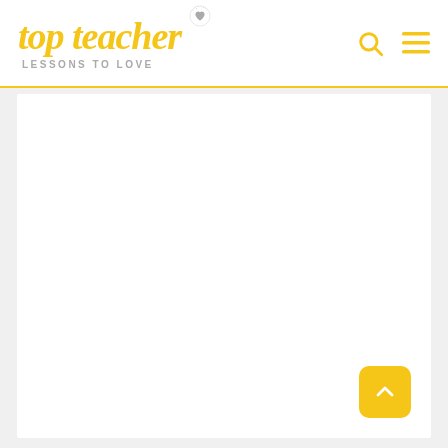top teacher — LESSONS TO LOVE
[Figure (screenshot): Top Teacher website header with yellow script logo, heart decoration, search icon, and hamburger menu icon on white background with yellow bottom border. Below header is a large white content area on gray background with a yellow back-to-top button in the bottom right corner.]